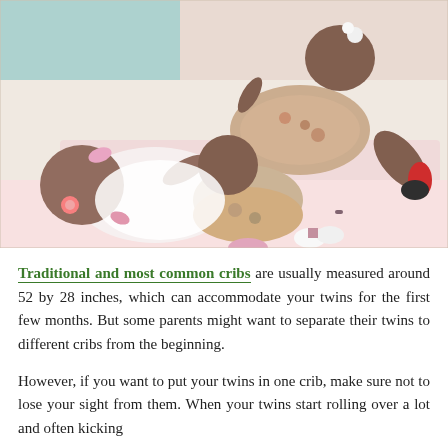[Figure (photo): Photo of twin babies sleeping on a pink surface, dressed in white and floral outfits with pink accessories and booties.]
Traditional and most common cribs are usually measured around 52 by 28 inches, which can accommodate your twins for the first few months. But some parents might want to separate their twins to different cribs from the beginning.
However, if you want to put your twins in one crib, make sure not to lose your sight from them. When your twins start rolling over a lot and often kicking